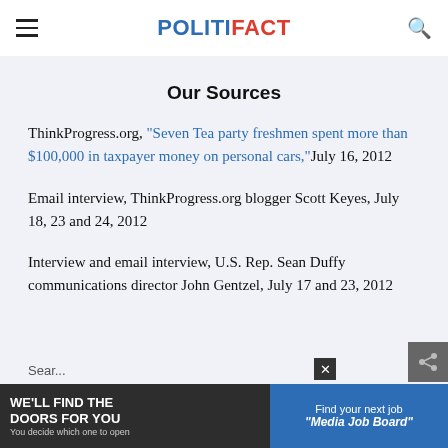POLITIFACT
Our Sources
ThinkProgress.org, "Seven Tea party freshmen spent more than $100,000 in taxpayer money on personal cars," July 16, 2012
Email interview, ThinkProgress.org blogger Scott Keyes, July 18, 23 and 24, 2012
Interview and email interview, U.S. Rep. Sean Duffy communications director John Gentzel, July 17 and 23, 2012
[Figure (screenshot): Advertisement banner at bottom: 'We'll Find The Doors For You' on left (dark background), 'Find your next job - Media Job Board' on right (blue background). Also shows a close button and share icon overlay.]